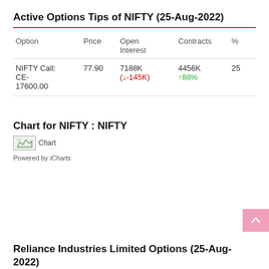Active Options Tips of NIFTY (25-Aug-2022)
| Option | Price | Open Interest | Contracts | % |
| --- | --- | --- | --- | --- |
| NIFTY Call: CE-17600.00 | 77.90 | 7188K (↓-145K) | 4456K ↑88% | 25 |
Chart for NIFTY : NIFTY
[Figure (other): Chart placeholder image with label 'Chart' for NIFTY]
Powered by iCharts
Reliance Industries Limited Options (25-Aug-2022)